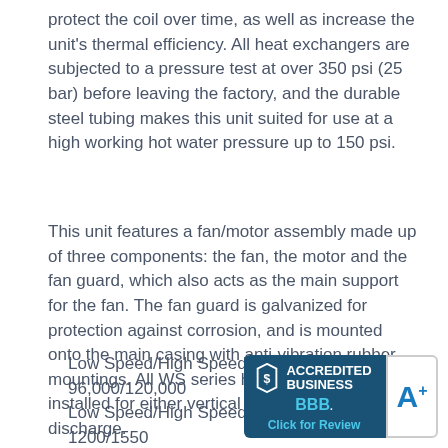protect the coil over time, as well as increase the unit's thermal efficiency. All heat exchangers are subjected to a pressure test at over 350 psi (25 bar) before leaving the factory, and the durable steel tubing makes this unit suited for use at a high working hot water pressure up to 150 psi.
This unit features a fan/motor assembly made up of three components: the fan, the motor and the fan guard, which also acts as the main support for the fan. The fan guard is galvanized for protection against corrosion, and is mounted onto the main casing with anti-vibration rubber mountings. All WS series heaters can be installed for either vertical or horizontal discharge.
Low Speed/High Speed BTUH: 96,000/120,000
Low Speed/High Speed Air Volumes (CFM): 1200/1550
All motors have internal protec[tion as a standard] feature.
[Figure (logo): BBB Accredited Business badge with A+ rating and 'Click for Review' text]